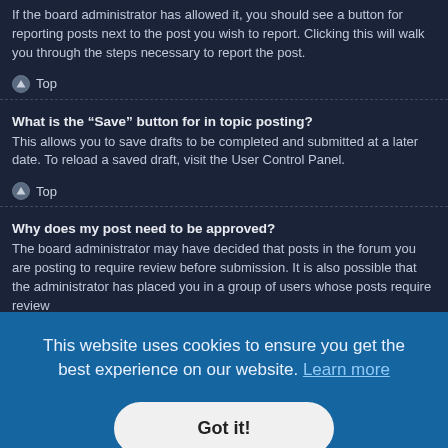If the board administrator has allowed it, you should see a button for reporting posts next to the post you wish to report. Clicking this will walk you through the steps necessary to report the post.
Top
What is the “Save” button for in topic posting?
This allows you to save drafts to be completed and submitted at a later date. To reload a saved draft, visit the User Control Panel.
Top
Why does my post need to be approved?
The board administrator may have decided that posts in the forum you are posting to require review before submission. It is also possible that the administrator has placed you in a group of users whose posts require review ...etails.
...p" the ...e this, ...mps has not yet been reached. It is also possible to bump the topic simply by replying to it, however, be sure to follow the board rules when doing so.
This website uses cookies to ensure you get the best experience on our website. Learn more
Got it!